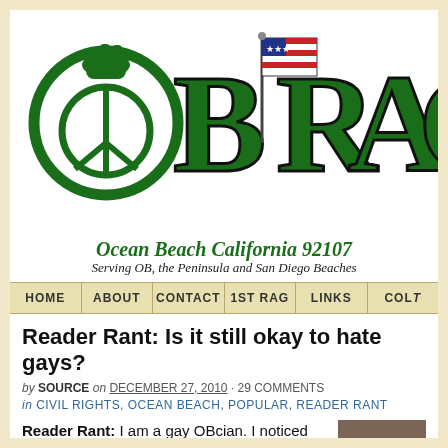[Figure (logo): OB Rag logo with green fist peace symbol and American flag, large green stylized text reading OB RAG]
Ocean Beach California 92107
Serving OB, the Peninsula and San Diego Beaches
HOME | ABOUT | CONTACT | 1ST RAG | LINKS | COLT...
Reader Rant: Is it still okay to hate gays?
by SOURCE on DECEMBER 27, 2010 · 29 COMMENTS
in CIVIL RIGHTS, OCEAN BEACH, POPULAR, READER RANT
Reader Rant: I am a gay OBcian. I noticed with broad interest that this blog published